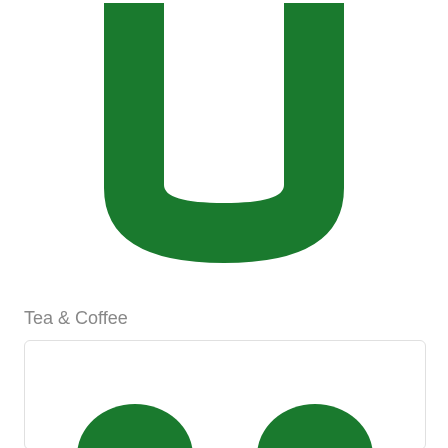[Figure (logo): Large green letter U shape (Uber Eats or similar app logo), bold rounded sans-serif letterform in dark green on white background, cropped at top]
Tea & Coffee
[Figure (illustration): White card/panel with two green rounded icon shapes visible at bottom, suggesting product category icons for Tea & Coffee]